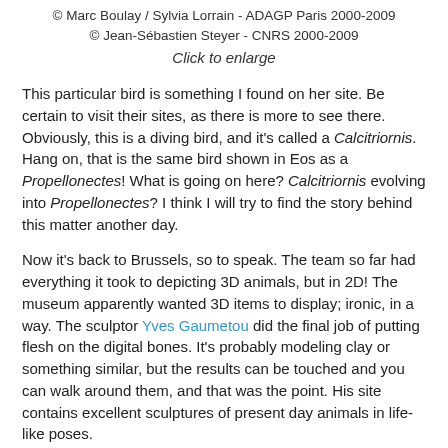© Marc Boulay / Sylvia Lorrain - ADAGP Paris 2000-2009
© Jean-Sébastien Steyer - CNRS 2000-2009
Click to enlarge
This particular bird is something I found on her site. Be certain to visit their sites, as there is more to see there. Obviously, this is a diving bird, and it's called a Calcitriornis. Hang on, that is the same bird shown in Eos as a Propellonectes! What is going on here? Calcitriornis evolving into Propellonectes? I think I will try to find the story behind this matter another day.
Now it's back to Brussels, so to speak. The team so far had everything it took to depicting 3D animals, but in 2D! The museum apparently wanted 3D items to display; ironic, in a way. The sculptor Yves Gaumetou did the final job of putting flesh on the digital bones. It's probably modeling clay or something similar, but the results can be touched and you can walk around them, and that was the point. His site contains excellent sculptures of present day animals in life-like poses.